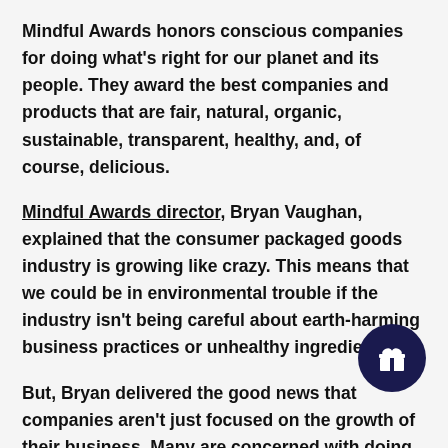Mindful Awards honors conscious companies for doing what's right for our planet and its people. They award the best companies and products that are fair, natural, organic, sustainable, transparent, healthy, and, of course, delicious.
Mindful Awards director, Bryan Vaughan, explained that the consumer packaged goods industry is growing like crazy. This means that we could be in environmental trouble if the industry isn't being careful about earth-harming business practices or unhealthy ingredients.
But, Bryan delivered the good news that companies aren't just focused on the growth of their business. Many are concerned with doing what's right for the environment, the community, and all of their consumers.
This awesome recognition platform is so excited about this growth! That's why they work hard to recognize the great companies and